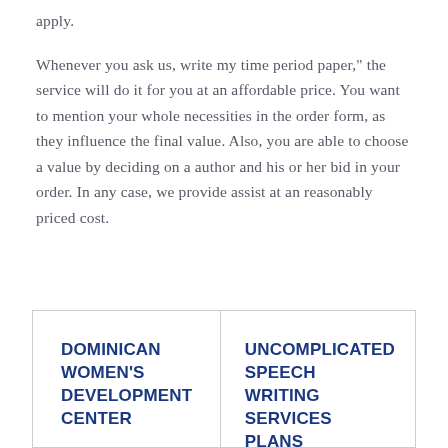apply.
Whenever you ask us, write my time period paper," the service will do it for you at an affordable price. You want to mention your whole necessities in the order form, as they influence the final value. Also, you are able to choose a value by deciding on a author and his or her bid in your order. In any case, we provide assist at an reasonably priced cost.
DOMINICAN WOMEN'S DEVELOPMENT CENTER
UNCOMPLICATED SPEECH WRITING SERVICES PLANS – WHAT'S